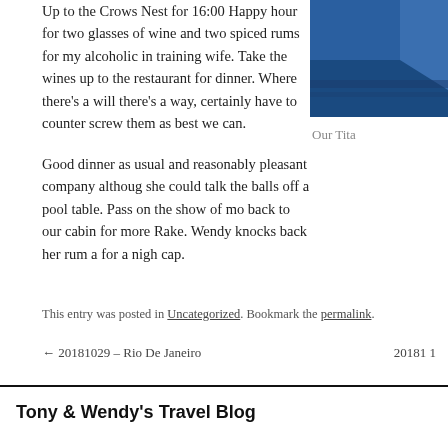Up to the Crows Nest for 16:00 Happy hour for two glasses of wine and two spiced rums for my alcoholic in training wife. Take the wines up to the restaurant for dinner. Where there’s a will there’s a way, certainly have to counter screw them as best we can.
[Figure (photo): Photo of ship at sea with blue water and sail/hull visible]
Our Tita
Good dinner as usual and reasonably pleasant company although she could talk the balls off a pool table. Pass on the show of mo back to our cabin for more Rake. Wendy knocks back her rum a for a nigh cap.
This entry was posted in Uncategorized. Bookmark the permalink.
← 20181029 – Rio De Janeiro
20181 1
Tony & Wendy’s Travel Blog